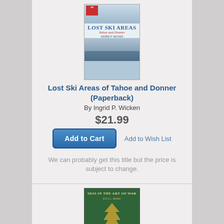[Figure (illustration): Book cover: Lost Ski Areas of Tahoe and Donner by Ingrid P. Wicken. Shows title text on mountain/snow background.]
Lost Ski Areas of Tahoe and Donner (Paperback)
By Ingrid P. Wicken
$21.99
Add to Wish List
Add to Cart
We can probably get this title but the price is subject to change.
[Figure (illustration): Book cover: Skis in the Art of War by William D. Frank, foreword by E. John B. Allen. Green cover with golden tree and winter landscape.]